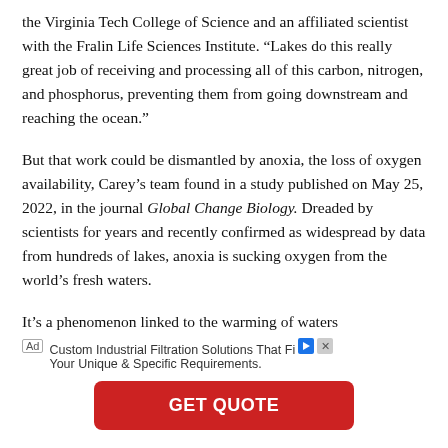the Virginia Tech College of Science and an affiliated scientist with the Fralin Life Sciences Institute. “Lakes do this really great job of receiving and processing all of this carbon, nitrogen, and phosphorus, preventing them from going downstream and reaching the ocean.”
But that work could be dismantled by anoxia, the loss of oxygen availability, Carey’s team found in a study published on May 25, 2022, in the journal Global Change Biology. Dreaded by scientists for years and recently confirmed as widespread by data from hundreds of lakes, anoxia is sucking oxygen from the world’s fresh waters.
It’s a phenomenon linked to the warming of waters
Ad Custom Industrial Filtration Solutions That Fit Your Unique & Specific Requirements.
[Figure (other): GET QUOTE button advertisement for Custom Industrial Filtration Solutions]